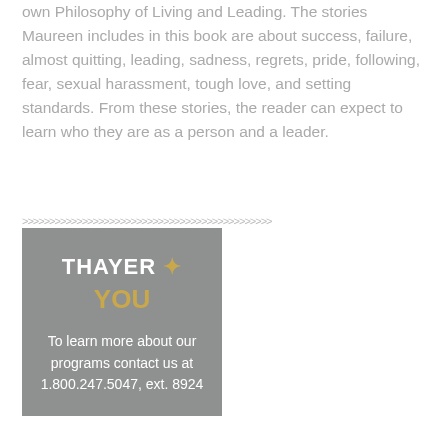own Philosophy of Living and Leading. The stories Maureen includes in this book are about success, failure, almost quitting, leading, sadness, regrets, pride, following, fear, sexual harassment, tough love, and setting standards. From these stories, the reader can expect to learn who they are as a person and a leader.
[Figure (other): Decorative zigzag/chevron divider line]
THAYER + YOU To learn more about our programs contact us at 1.800.247.5047, ext. 8924